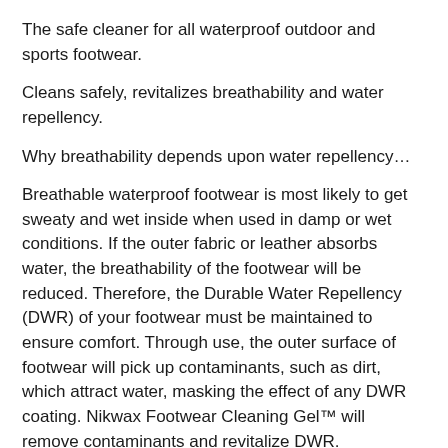The safe cleaner for all waterproof outdoor and sports footwear.
Cleans safely, revitalizes breathability and water repellency.
Why breathability depends upon water repellency…
Breathable waterproof footwear is most likely to get sweaty and wet inside when used in damp or wet conditions. If the outer fabric or leather absorbs water, the breathability of the footwear will be reduced. Therefore, the Durable Water Repellency (DWR) of your footwear must be maintained to ensure comfort. Through use, the outer surface of footwear will pick up contaminants, such as dirt, which attract water, masking the effect of any DWR coating. Nikwax Footwear Cleaning Gel™ will remove contaminants and revitalize DWR.
Waterproof footwear needs to be breathable…
When you're active and wearing footwear, your socks draw moisture away from your feet, keeping them dry. However, if your footwear absorbs water and 'wets out'